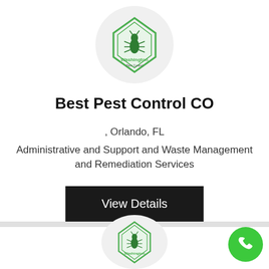[Figure (logo): Washington Pest Control company logo inside a circular grey background. Green diamond/shield shape with a bug silhouette and text 'Washington' in green.]
Best Pest Control CO
, Orlando, FL
Administrative and Support and Waste Management and Remediation Services
View Details
[Figure (logo): Washington Pest Control company logo (partial, bottom card) inside a circular grey background.]
[Figure (other): Green circular phone/call button in bottom right corner.]